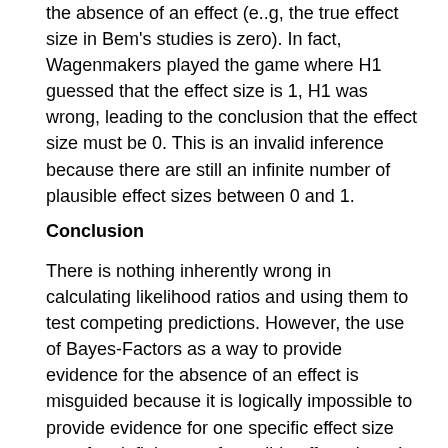the absence of an effect (e..g, the true effect size in Bem's studies is zero).  In fact, Wagenmakers played the game where H1 guessed that the effect size is 1, H1 was wrong, leading to the conclusion that the effect size must be 0.  This is an invalid inference because there are still an infinite number of plausible effect sizes between 0 and 1.
Conclusion
There is nothing inherently wrong in calculating likelihood ratios and using them to test competing predictions. However, the use of Bayes-Factors as a way to provide evidence for the absence of an effect is misguided because it is logically impossible to provide evidence for one specific effect size out of an infinite set of possible effect sizes. It doesn't matter whether the specific effect size is 0 or any other value.  A likelihood ratio can only compare two hypothesis out of an infinite set of hypotheses. If one hypothesis is rejected, it does not justify inferring that the other hypotheses is true.  This is the reason why we can